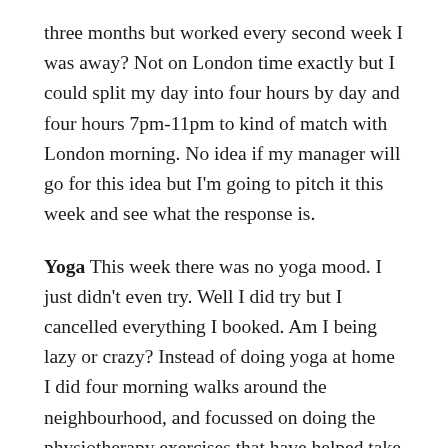three months but worked every second week I was away? Not on London time exactly but I could split my day into four hours by day and four hours 7pm-11pm to kind of match with London morning. No idea if my manager will go for this idea but I'm going to pitch it this week and see what the response is.
Yoga This week there was no yoga mood. I just didn't even try. Well I did try but I cancelled everything I booked. Am I being lazy or crazy? Instead of doing yoga at home I did four morning walks around the neighbourhood, and focussed on doing the physiotherapy exercises that have helped take the pain out of my arm and concentrate it where the actual problem is – at the back of my neck. So I've gone from occasional arm twinges to a near-constant head/neck